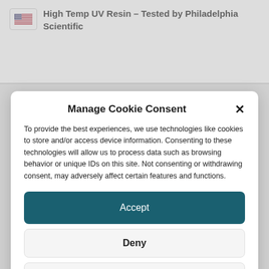High Temp UV Resin – Tested by Philadelphia Scientific
Manage Cookie Consent
To provide the best experiences, we use technologies like cookies to store and/or access device information. Consenting to these technologies will allow us to process data such as browsing behavior or unique IDs on this site. Not consenting or withdrawing consent, may adversely affect certain features and functions.
Accept
Deny
View preferences
Cookie Policy